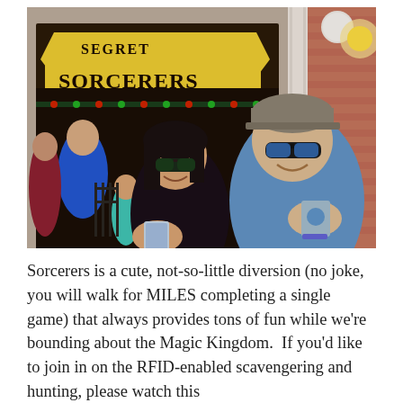[Figure (photo): Two people smiling and holding up RFID cards/tokens in front of a 'Secret Sorcerers Recruitment' banner sign. Background shows a crowded theme park area with brick building and other visitors.]
Sorcerers is a cute, not-so-little diversion (no joke, you will walk for MILES completing a single game) that always provides tons of fun while we're bounding about the Magic Kingdom.  If you'd like to join in on the RFID-enabled scavengering and hunting, please watch this